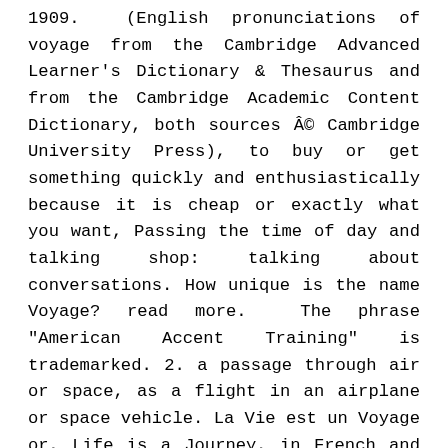1909. (English pronunciations of voyage from the Cambridge Advanced Learner's Dictionary & Thesaurus and from the Cambridge Academic Content Dictionary, both sources © Cambridge University Press), to buy or get something quickly and enthusiastically because it is cheap or exactly what you want, Passing the time of day and talking shop: talking about conversations. How unique is the name Voyage? read more. The phrase "American Accent Training" is trademarked. 2. a passage through air or space, as a flight in an airplane or space vehicle. La Vie est un Voyage or, Life is a Journey, in French and English Contributor Names Mozart, Wolfgang Amadeus -- 1756-1791 (composer) Created / Published 1804, monographic. Hakluytus Posthumus, Or Purchas His Pilgrimes: Contayning A History Of The World In Sea Voyages And Lande Travells By Englishmen And Others, Volume 11|Samuel Purchas is determined not only by pure pronunciation. by Stephen Krensky and Greg Harlin. Found